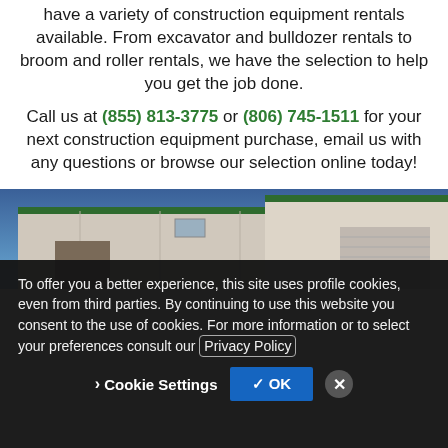have a variety of construction equipment rentals available. From excavator and bulldozer rentals to broom and roller rentals, we have the selection to help you get the job done.
Call us at (855) 813-3775 or (806) 745-1511 for your next construction equipment purchase, email us with any questions or browse our selection online today!
[Figure (photo): Partial view of a metal building with green trim against a blue sky]
To offer you a better experience, this site uses profile cookies, even from third parties. By continuing to use this website you consent to the use of cookies. For more information or to select your preferences consult our Privacy Policy